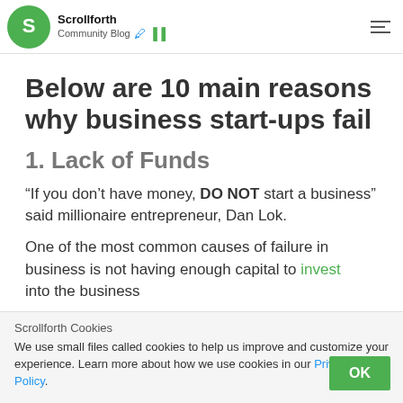Scrollforth Community Blog
Below are 10 main reasons why business start-ups fail
1. Lack of Funds
“If you don’t have money, DO NOT start a business” said millionaire entrepreneur, Dan Lok.
One of the most common causes of failure in business is not having enough capital to invest into the business
Scrollforth Cookies
We use small files called cookies to help us improve and customize your experience. Learn more about how we use cookies in our Privacy Policy.